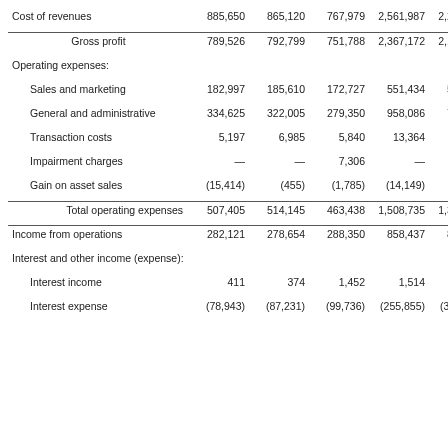|  |  |  |  |  |  |
| --- | --- | --- | --- | --- | --- |
| Cost of revenues | 885,650 | 865,120 | 767,979 | 2,561,987 | 2,243,605 |
| Gross profit | 789,526 | 792,799 | 751,788 | 2,367,172 | 2,190,825 |
| Operating expenses: |  |  |  |  |  |
| Sales and marketing | 182,997 | 185,610 | 172,727 | 551,434 | 531,301 |
| General and administrative | 334,625 | 322,005 | 279,350 | 958,086 | 797,837 |
| Transaction costs | 5,197 | 6,985 | 5,840 | 13,364 | 30,987 |
| Impairment charges | — | — | 7,306 | — | 7,306 |
| Gain on asset sales | (15,414) | (455) | (1,785) | (14,149) | (928) |
| Total operating expenses | 507,405 | 514,145 | 463,438 | 1,508,735 | 1,366,503 |
| Income from operations | 282,121 | 278,654 | 288,350 | 858,437 | 824,322 |
| Interest and other income (expense): |  |  |  |  |  |
| Interest income | 411 | 374 | 1,452 | 1,514 | 7,410 |
| Interest expense | (78,943) | (87,231) | (99,736) | (255,855) | (315,554) |